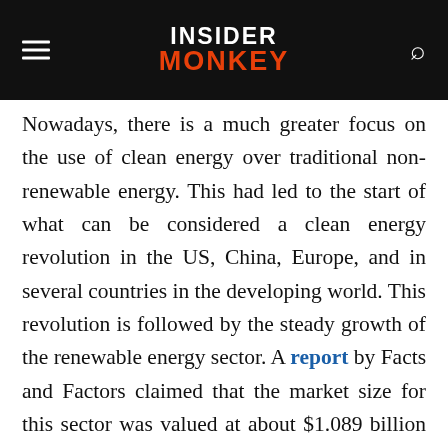INSIDER MONKEY
Nowadays, there is a much greater focus on the use of clean energy over traditional non-renewable energy. This had led to the start of what can be considered a clean energy revolution in the US, China, Europe, and in several countries in the developing world. This revolution is followed by the steady growth of the renewable energy sector. A report by Facts and Factors claimed that the market size for this sector was valued at about $1.089 billion in 2019 and will grow to approximately $1.911 billion by 2026, growing at a CAGR of 8.3% during the forecast period. This is a testament to the above claim that the clean energy sector is expected to continue to become larger and more profitable.